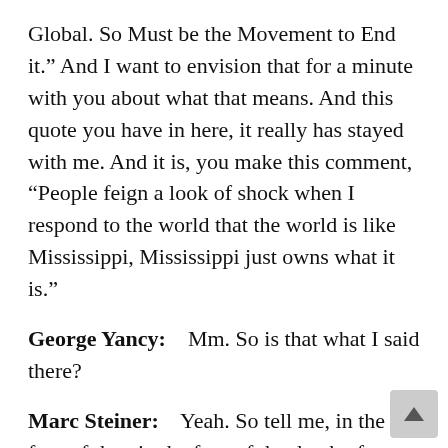Global. So Must be the Movement to End it.” And I want to envision that for a minute with you about what that means. And this quote you have in here, it really has stayed with me. And it is, you make this comment, “People feign a look of shock when I respond to the world that the world is like Mississippi, Mississippi just owns what it is.”
George Yancy:    Mm. So is that what I said there?
Marc Steiner:    Yeah. So tell me, in the face of that, in the face of the depth of racism, in the face of the depth of the kind of economic exploitation that happens, in these kinds of invasions the United States has taken part in, that Russia has taken part in across the globe. So tell me what kind of response that what you’re writing here